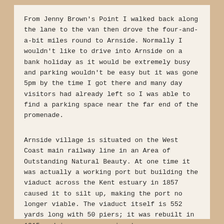From Jenny Brown's Point I walked back along the lane to the van then drove the four-and-a-bit miles round to Arnside. Normally I wouldn't like to drive into Arnside on a bank holiday as it would be extremely busy and parking wouldn't be easy but it was gone 5pm by the time I got there and many day visitors had already left so I was able to find a parking space near the far end of the promenade.
Arnside village is situated on the West Coast main railway line in an Area of Outstanding Natural Beauty. At one time it was actually a working port but building the viaduct across the Kent estuary in 1857 caused it to silt up, making the port no longer viable. The viaduct itself is 552 yards long with 50 piers; it was rebuilt in 1915 and is a very prominent